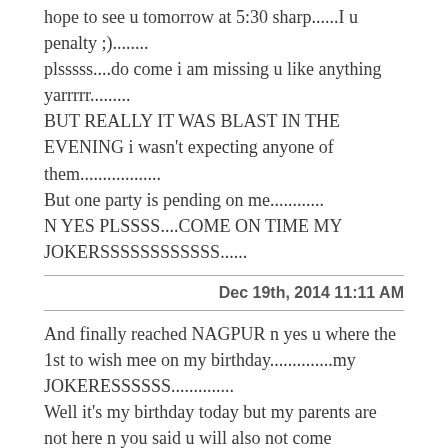hope to see u tomorrow at 5:30 sharp......I u penalty ;)........
plsssss....do come i am missing u like anything yarrrrr.........
BUT REALLY IT WAS BLAST IN THE EVENING i wasn't expecting anyone of them..................
But one party is pending on me............
N YES PLSSSS....COME ON TIME MY JOKERSSSSSSSSSSSS......
Dec 19th, 2014 11:11 AM
And finally reached NAGPUR n yes u where the 1st to wish mee on my birthday..............my JOKERESSSSSS..............
Well it's my birthday today but my parents are not here n you said u will also not come today..............feeling alone on my birthday but it's